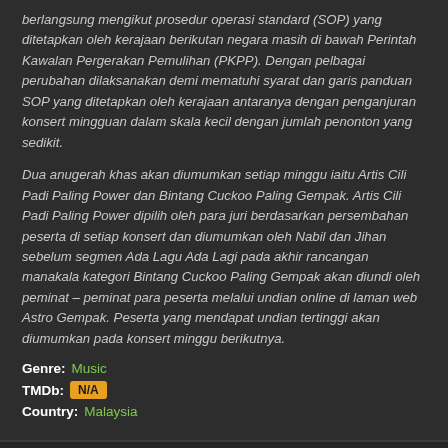berlangsung mengikut prosedur operasi standard (SOP) yang ditetapkan oleh kerajaan berikutan negara masih di bawah Perintah Kawalan Pergerakan Pemulihan (PKPP). Dengan pelbagai perubahan dilaksanakan demi mematuhi syarat dan garis panduan SOP yang ditetapkan oleh kerajaan antaranya dengan penganjuran konsert mingguan dalam skala kecil dengan jumlah penonton yang sedikit.
Dua anugerah khas akan diumumkan setiap minggu iaitu Artis Cili Padi Paling Power dan Bintang Cuckoo Paling Gempak. Artis Cili Padi Paling Power dipilih oleh para juri berdasarkan persembahan peserta di setiap konsert dan diumumkan oleh Nabil dan Jihan sebelum segmen Ada Lagu Ada Lagi pada akhir rancangan manakala kategori Bintang Cuckoo Paling Gempak akan diundi oleh peminat – peminat para peserta melalui undian online di laman web Astro Gempak. Peserta yang mendapat undian tertinggi akan diumumkan pada konsert minggu berikutnya.
Genre: Music
TMDb: N/A
Country: Malaysia
Comments
Your email address will not be published. Required fields are marked *